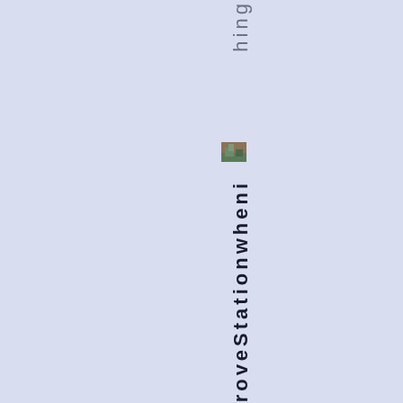hing.
SkinningroveStationwheni